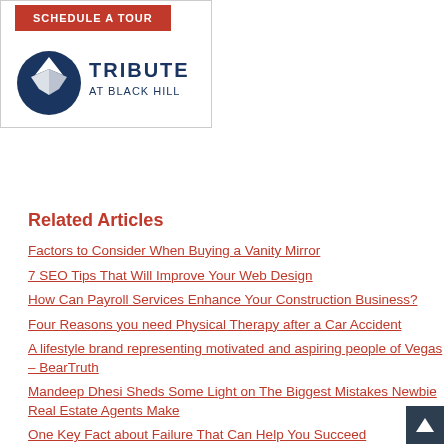[Figure (logo): Tribute at Black Hill logo with red button 'SCHEDULE A TOUR']
Related Articles
Factors to Consider When Buying a Vanity Mirror
7 SEO Tips That Will Improve Your Web Design
How Can Payroll Services Enhance Your Construction Business?
Four Reasons you need Physical Therapy after a Car Accident
A lifestyle brand representing motivated and aspiring people of Vegas – BearTruth
Mandeep Dhesi Sheds Some Light on The Biggest Mistakes Newbie Real Estate Agents Make
One Key Fact about Failure That Can Help You Succeed
STOP SHOOTING YOURSELF IN THE FOOT: Strategies and Tips
How Mindful Practices Can Enhance Your Learning Ability